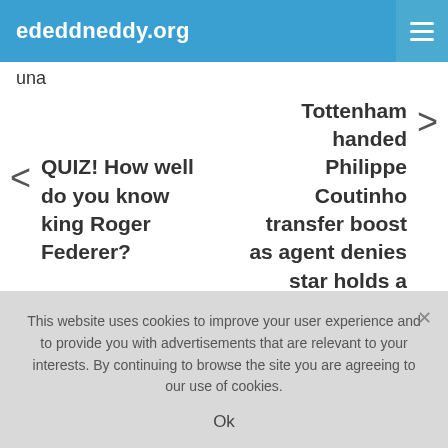ededdneddy.org
una
< QUIZ! How well do you know king Roger Federer?
Tottenham handed Philippe Coutinho transfer boost as agent denies star holds a grudge >
This website uses cookies to improve your user experience and to provide you with advertisements that are relevant to your interests. By continuing to browse the site you are agreeing to our use of cookies.
Ok